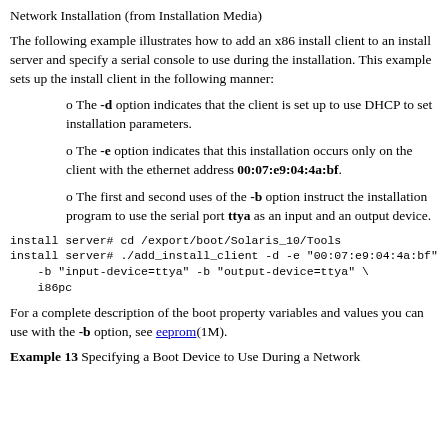Network Installation (from Installation Media)
The following example illustrates how to add an x86 install client to an install server and specify a serial console to use during the installation. This example sets up the install client in the following manner:
The -d option indicates that the client is set up to use DHCP to set installation parameters.
The -e option indicates that this installation occurs only on the client with the ethernet address 00:07:e9:04:4a:bf.
The first and second uses of the -b option instruct the installation program to use the serial port ttya as an input and an output device.
install server# cd /export/boot/Solaris_10/Tools
install server# ./add_install_client -d -e "00:07:e9:04:4a:bf"
    -b "input-device=ttya" -b "output-device=ttya" \
    i86pc
For a complete description of the boot property variables and values you can use with the -b option, see eeprom(1M).
Example 13 Specifying a Boot Device to Use During a Network